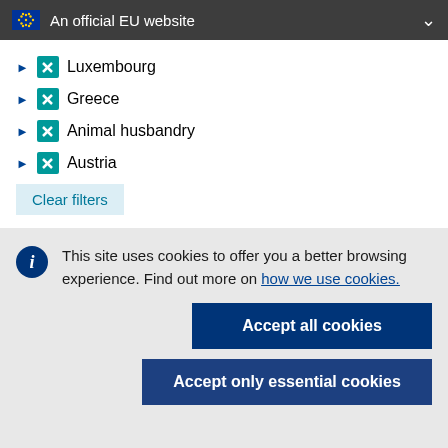An official EU website
Luxembourg
Greece
Animal husbandry
Austria
Clear filters
This site uses cookies to offer you a better browsing experience. Find out more on how we use cookies.
Accept all cookies
Accept only essential cookies